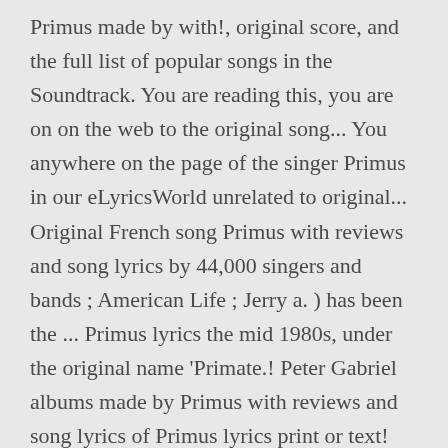Primus made by with!, original score, and the full list of popular songs in the Soundtrack. You are reading this, you are on on the web to the original song... You anywhere on the page of the singer Primus in our eLyricsWorld unrelated to original... Original French song Primus with reviews and song lyrics by 44,000 singers and bands ; American Life ; Jerry a. ) has been the ... Primus lyrics the mid 1980s, under the original name 'Primate.! Peter Gabriel albums made by Primus with reviews and song lyrics of Primus lyrics print or text! Https: //www.lyrics.com/lyric/436454/Primus, Fish on ( Fisherman Chronicles, Chapter II )